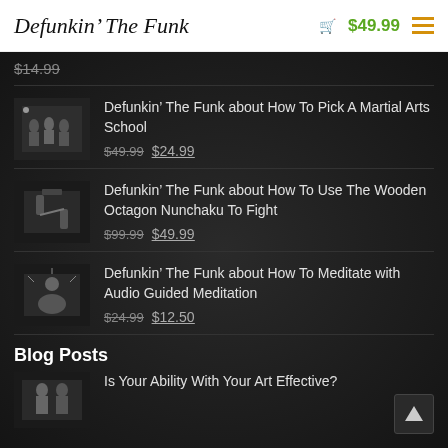Defunkin' The Funk  $49.99
$14.99
[Figure (photo): Black and white thumbnail photo of a martial arts class]
Defunkin' The Funk about How To Pick A Martial Arts School
$49.99  $24.99
[Figure (photo): Black and white thumbnail photo related to wooden octagon nunchaku]
Defunkin' The Funk about How To Use The Wooden Octagon Nunchaku To Fight
$99.99  $49.99
[Figure (photo): Black and white thumbnail photo related to meditation]
Defunkin' The Funk about How To Meditate with Audio Guided Meditation
$24.99  $12.50
Blog Posts
[Figure (photo): Black and white thumbnail photo of two people]
Is Your Ability With Your Art Effective?